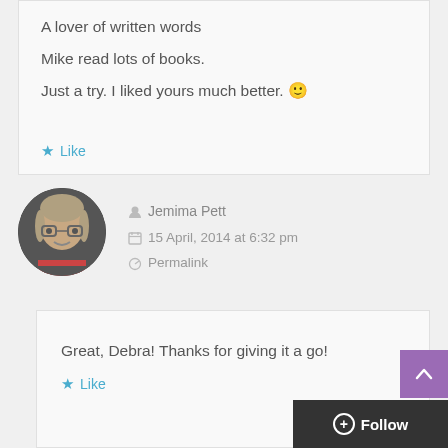A lover of written words
Mike read lots of books.
Just a try. I liked yours much better. 🙂
Like
Jemima Pett
15 April, 2014 at 6:32 pm
Permalink
Great, Debra! Thanks for giving it a go!
Like